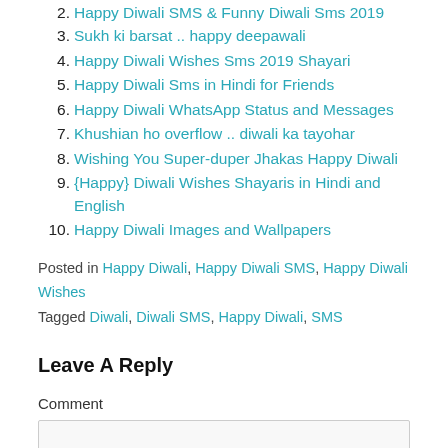2. Happy Diwali SMS & Funny Diwali Sms 2019
3. Sukh ki barsat .. happy deepawali
4. Happy Diwali Wishes Sms 2019 Shayari
5. Happy Diwali Sms in Hindi for Friends
6. Happy Diwali WhatsApp Status and Messages
7. Khushian ho overflow .. diwali ka tayohar
8. Wishing You Super-duper Jhakas Happy Diwali
9. {Happy} Diwali Wishes Shayaris in Hindi and English
10. Happy Diwali Images and Wallpapers
Posted in Happy Diwali, Happy Diwali SMS, Happy Diwali Wishes
Tagged Diwali, Diwali SMS, Happy Diwali, SMS
Leave A Reply
Comment